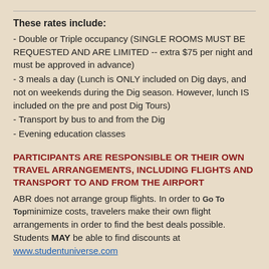These rates include:
- Double or Triple occupancy (SINGLE ROOMS MUST BE REQUESTED AND ARE LIMITED -- extra $75 per night and must be approved in advance)
- 3 meals a day (Lunch is ONLY included on Dig days, and not on weekends during the Dig season. However, lunch IS included on the pre and post Dig Tours)
- Transport by bus to and from the Dig
- Evening education classes
PARTICIPANTS ARE RESPONSIBLE OR THEIR OWN TRAVEL ARRANGEMENTS, INCLUDING FLIGHTS AND TRANSPORT TO AND FROM THE AIRPORT
ABR does not arrange group flights. In order to minimize costs, travelers make their own flight arrangements in order to find the best deals possible. Students MAY be able to find discounts at www.studentuniverse.com
A $500 per person deposit is due on a first come,